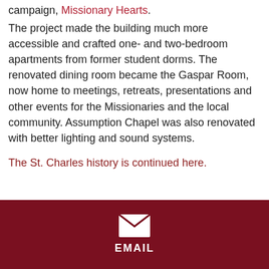campaign, Missionary Hearts.

The project made the building much more accessible and crafted one- and two-bedroom apartments from former student dorms. The renovated dining room became the Gaspar Room, now home to meetings, retreats, presentations and other events for the Missionaries and the local community. Assumption Chapel was also renovated with better lighting and sound systems.

The St. Charles history is continued here.
[Figure (infographic): Dark red footer with a white envelope icon and the word EMAIL in white bold uppercase letters]
EMAIL